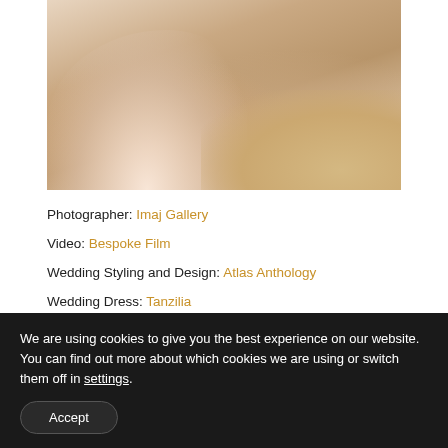[Figure (photo): Close-up photo of a bride in a flowing lace wedding dress and groom walking on sandy beach, showing lower body/legs and dress train.]
Photographer: Imaj Gallery
Video: Bespoke Film
Wedding Styling and Design: Atlas Anthology
Wedding Dress: Tanzilia
We are using cookies to give you the best experience on our website. You can find out more about which cookies we are using or switch them off in settings.
Accept